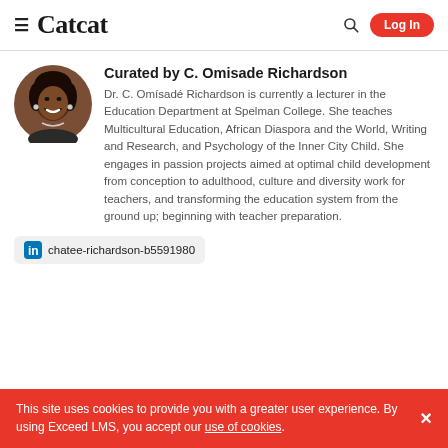≡ Catcat   🔍  Log In
[Figure (photo): Circular profile photo of Dr. C. Omisadé Richardson, a woman smiling, wearing earrings]
Curated by C. Omisade Richardson
Dr. C. Omísadé Richardson is currently a lecturer in the Education Department at Spelman College. She teaches Multicultural Education, African Diaspora and the World, Writing and Research, and Psychology of the Inner City Child. She engages in passion projects aimed at optimal child development from conception to adulthood, culture and diversity work for teachers, and transforming the education system from the ground up; beginning with teacher preparation.
chatee-richardson-b5591980
This site uses cookies to provide you with a greater user experience. By using Exceed LMS, you accept our use of cookies.